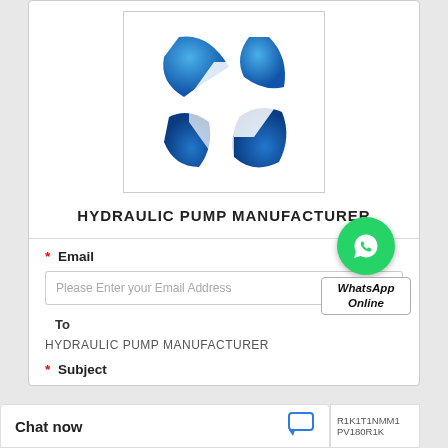[Figure (logo): Blue hydraulic pump manufacturer logo — stylized X shape with two blue curved blades]
HYDRAULIC PUMP MANUFACTURER
* Email
Please Enter your Email Address
[Figure (logo): WhatsApp green circle icon with phone handset, labeled WhatsApp Online]
To
HYDRAULIC PUMP MANUFACTURER
* Subject
Chat now
R1K1T1NMM1 PV180R1K